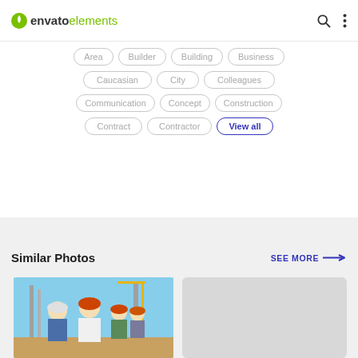[Figure (screenshot): Envato Elements website header with logo, search icon, and menu icon]
Area
Builder
Building
Business
Caucasian
City
Colleagues
Communication
Concept
Construction
Contract
Contractor
View all
Similar Photos
SEE MORE →
[Figure (photo): Construction workers wearing hard hats at a building site]
[Figure (photo): Second similar photo placeholder]